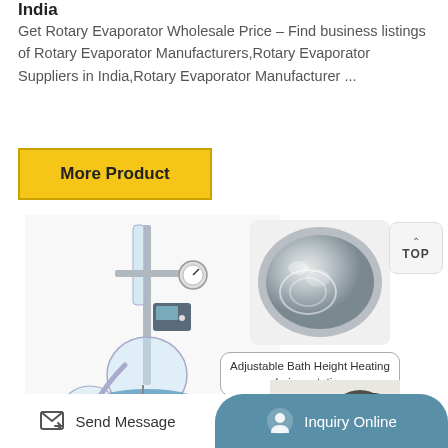India
Get Rotary Evaporator Wholesale Price – Find business listings of Rotary Evaporator Manufacturers,Rotary Evaporator Suppliers in India,Rotary Evaporator Manufacturer ...
More Product
[Figure (photo): Rotary evaporator laboratory apparatus with glass flask, condenser tubing, vacuum gauge and blue circular base]
[Figure (photo): Close-up view of a stainless steel water bath bowl for rotary evaporator]
Adjustable Bath Height Heating during rotation.
[Figure (photo): Partial view of rotary evaporator motor/rotation component]
Send Message   Inquiry Online